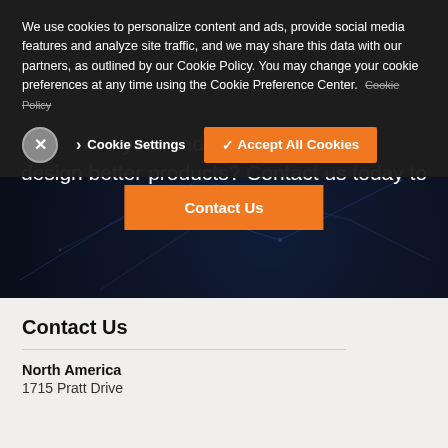We use cookies to personalize content and ads, provide social media features and analyze site traffic, and we may share this data with our partners, as outlined by our Cookie Policy. You may change your cookie preferences at any time using the Cookie Preference Center.
Cookie Settings | ✓ Accept All Cookies
Are you ready to innovate and design better products? Contact us today to find out how.
Contact Us
Contact Us
North America
1715 Pratt Drive